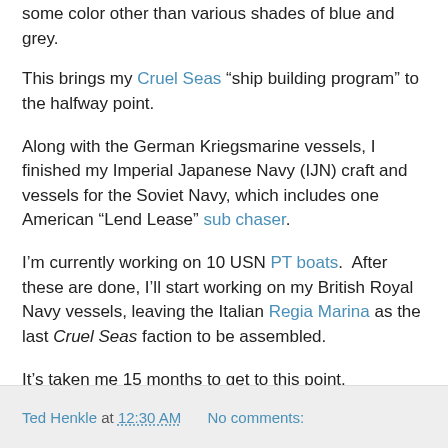some color other than various shades of blue and grey.
This brings my Cruel Seas “ship building program” to the halfway point.
Along with the German Kriegsmarine vessels, I finished my Imperial Japanese Navy (IJN) craft and vessels for the Soviet Navy, which includes one American “Lend Lease” sub chaser.
I’m currently working on 10 USN PT boats.  After these are done, I’ll start working on my British Royal Navy vessels, leaving the Italian Regia Marina as the last Cruel Seas faction to be assembled.
It’s taken me 15 months to get to this point.  Hopefully, I’ll be able to send more vessels “down the slipways” at a quicker rate from now on.
Ted Henkle at 12:30 AM   No comments: